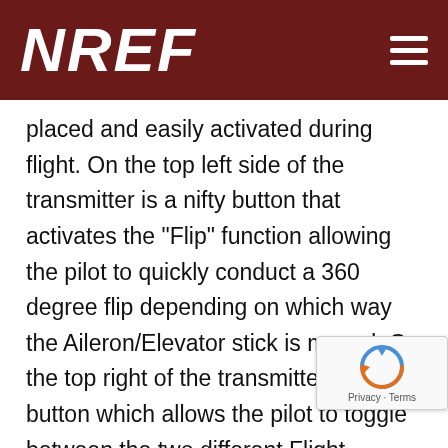NREF
placed and easily activated during flight. On the top left side of the transmitter is a nifty button that activates the "Flip" function allowing the pilot to quickly conduct a 360 degree flip depending on which way the Aileron/Elevator stick is moved. On the top right of the transmitter is a button which allows the pilot to toggle between the two different Flight Modes: Normal and Expert. Using the Flight Mode button in combination with being able to select High and Low Dual Rates on this transmitter allows for four different levels of For example, selecting Normal Flight Mode with